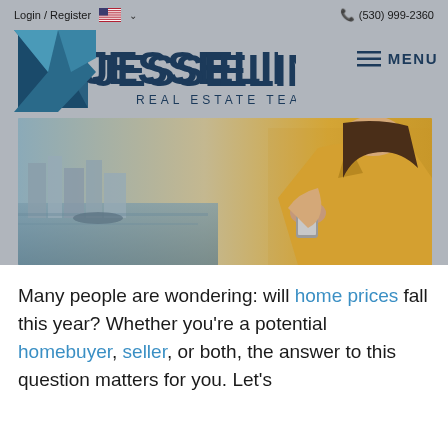Login / Register  (530) 999-2360
[Figure (logo): Jesse Eline Real Estate Team logo with blue geometric diamond shape and company name]
[Figure (photo): Woman in yellow shirt holding a smartphone outdoors near a river with city buildings in background]
Many people are wondering: will home prices fall this year? Whether you're a potential homebuyer, seller, or both, the answer to this question matters for you. Let's